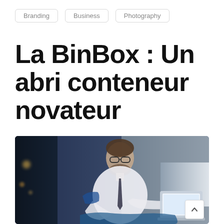Branding   Business   Photography
La BinBox : Un abri conteneur novateur
[Figure (photo): Man in glasses wearing a white shirt and tie, smiling while using a laptop, sitting in a dark modern lounge or office setting with bokeh lights in the background]